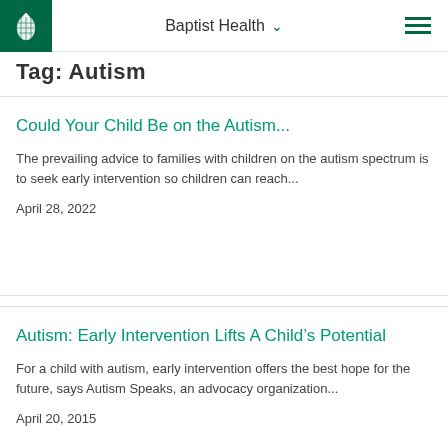Baptist Health
Tag: Autism
Could Your Child Be on the Autism...
The prevailing advice to families with children on the autism spectrum is to seek early intervention so children can reach...
April 28, 2022
Autism: Early Intervention Lifts A Child’s Potential
For a child with autism, early intervention offers the best hope for the future, says Autism Speaks, an advocacy organization...
April 20, 2015